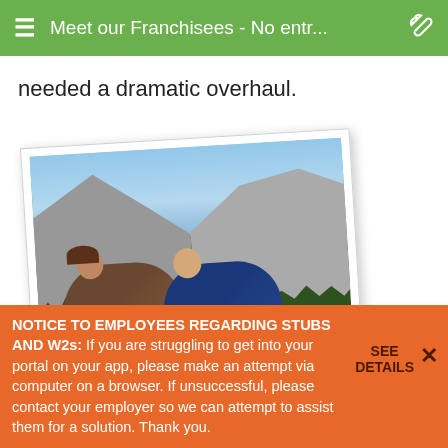Meet our Franchisees - No entr...
needed a dramatic overhaul.
[Figure (photo): A couple posing in front of a dramatic mountain valley landscape, similar to Yosemite Valley, with large granite cliffs and lush green trees. The photo is presented in a polaroid-style frame, slightly rotated.]
NOTICE TO EMPLOYEES REGARDING STUBS AND W2s: If you are struggling to get into your portal on your app, please make an attempt via computer on a browser. If unsuccessful, please contact your employer so we can attempt to assist them for a solution. Thank you.